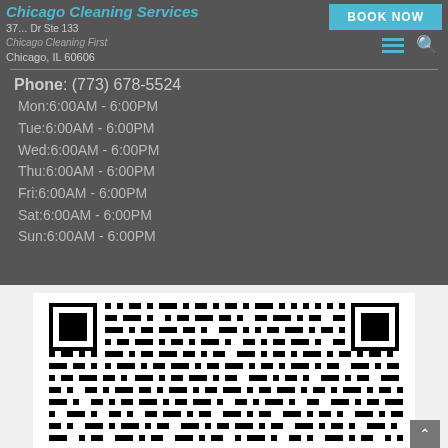Chicago Cleaning Services
37... Dr Ste 133, Chicago, IL 60606
Phone: (773) 678-5524
Mon:6:00AM - 6:00PM
Tue:6:00AM - 6:00PM
Wed:6:00AM - 6:00PM
Thu:6:00AM - 6:00PM
Fri:6:00AM - 6:00PM
Sat:6:00AM - 6:00PM
Sun:6:00AM - 6:00PM
[Figure (other): QR code for Chicago Cleaning Services website]